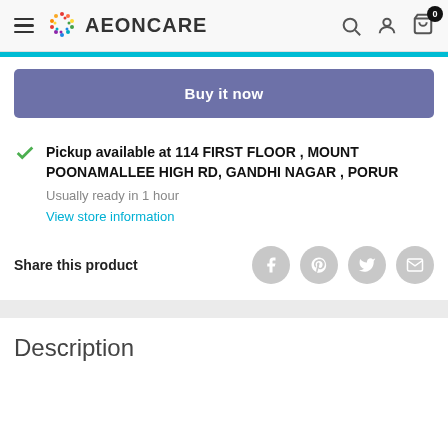AEONCARE
[Figure (screenshot): Cyan progress/loading bar below the navigation header]
Buy it now
Pickup available at 114 FIRST FLOOR , MOUNT POONAMALLEE HIGH RD, GANDHI NAGAR , PORUR
Usually ready in 1 hour
View store information
Share this product
Description